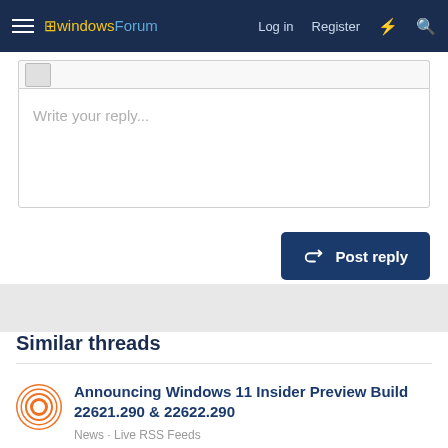windowsForum  Log in  Register
Write your reply...
Post reply
Similar threads
Announcing Windows 11 Insider Preview Build 22621.290 & 22622.290
News · Live RSS Feeds
Replies: 0 · Jul 6, 2022
Announcing Windows 11 Insider Preview Build 22621.290 and 22622.290